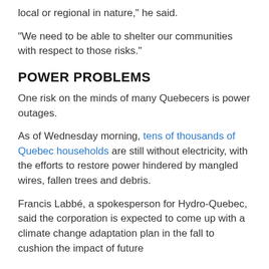local or regional in nature," he said.
"We need to be able to shelter our communities with respect to those risks."
POWER PROBLEMS
One risk on the minds of many Quebecers is power outages.
As of Wednesday morning, tens of thousands of Quebec households are still without electricity, with the efforts to restore power hindered by mangled wires, fallen trees and debris.
Francis Labbé, a spokesperson for Hydro-Quebec, said the corporation is expected to come up with a climate change adaptation plan in the fall to cushion the impact of future